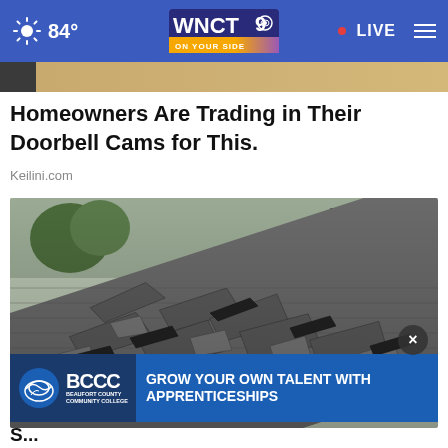84° WNCT 9 ON YOUR SIDE • LIVE
[Figure (photo): Cropped top strip of an image]
Homeowners Are Trading in Their Doorbell Cams for This.
Keilini.com
[Figure (photo): Damaged roof shingles peeling off in disarray, with green trees and a house in background]
[Figure (logo): BCCC Beaufort County Community College advertisement: GROW YOUR OWN TALENT WITH APPRENTICESHIPS]
S... W... A...